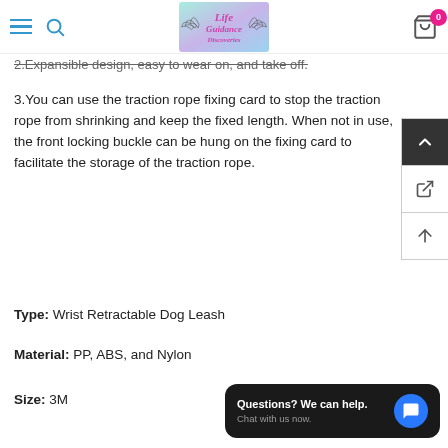Life Guidance Discoveries - navigation header with logo, hamburger menu, search, and cart
2.Expansible design, easy to wear on, and take off.
3.You can use the traction rope fixing card to stop the traction rope from shrinking and keep the fixed length. When not in use, the front locking buckle can be hung on the fixing card to facilitate the storage of the traction rope.
Type: Wrist Retractable Dog Leash
Material: PP, ABS, and Nylon
Size: 3M